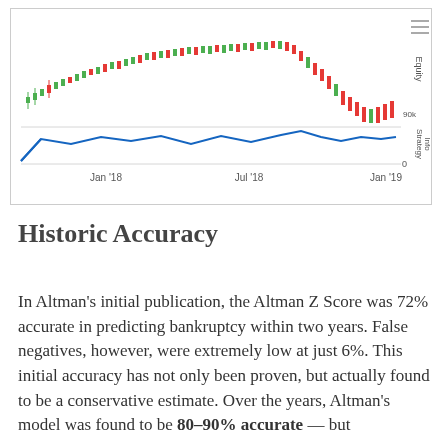[Figure (continuous-plot): Financial chart with two panels: top panel shows candlestick/equity price chart from Jan 2018 to Jan 2019 with green and red bars, labeled 'Equity' on right axis with '90k' marker; bottom panel shows a blue line chart of Strategy Info oscillating between 0 and a higher value, labeled 'Strategy Info' on right axis with '0' marker. X-axis shows Jan '18, Jul '18, Jan '19.]
Historic Accuracy
In Altman's initial publication, the Altman Z Score was 72% accurate in predicting bankruptcy within two years. False negatives, however, were extremely low at just 6%. This initial accuracy has not only been proven, but actually found to be a conservative estimate. Over the years, Altman's model was found to be 80–90% accurate — but